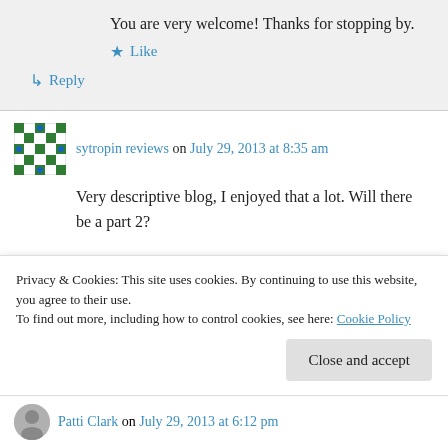You are very welcome! Thanks for stopping by.
Like
Reply
sytropin reviews on July 29, 2013 at 8:35 am
Very descriptive blog, I enjoyed that a lot. Will there be a part 2?
Privacy & Cookies: This site uses cookies. By continuing to use this website, you agree to their use.
To find out more, including how to control cookies, see here: Cookie Policy
Close and accept
Patti Clark on July 29, 2013 at 6:12 pm